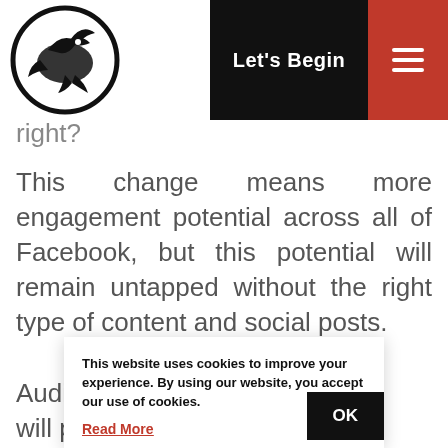[Figure (logo): Circular logo with bird/animal silhouette in black and white]
Let's Begin
right?
This change means more engagement potential across all of Facebook, but this potential will remain untapped without the right type of content and social posts. Audience... retaining... will pull... engagement. In the world of social
This website uses cookies to improve your experience. By using our website, you accept our use of cookies.
Read More
OK